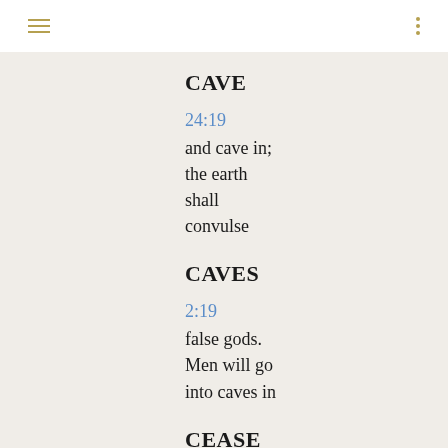≡  ⋮
CAVE
24:19
and cave in; the earth shall convulse
CAVES
2:19
false gods. Men will go into caves in
CEASE
1:16
deeds from before my eyes; cease